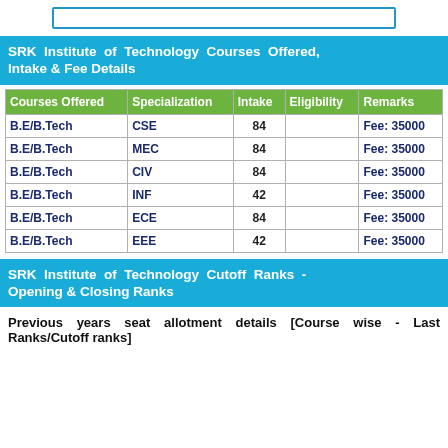SRK Institute of Technology Courses Offered, Intake & Fee Details
| Courses Offered | Specialization | Intake | Eligibility | Remarks |
| --- | --- | --- | --- | --- |
| B.E/B.Tech | CSE | 84 |  | Fee: 35000 |
| B.E/B.Tech | MEC | 84 |  | Fee: 35000 |
| B.E/B.Tech | CIV | 84 |  | Fee: 35000 |
| B.E/B.Tech | INF | 42 |  | Fee: 35000 |
| B.E/B.Tech | ECE | 84 |  | Fee: 35000 |
| B.E/B.Tech | EEE | 42 |  | Fee: 35000 |
SRK Institute of Technology Cutoff Ranks - Opening & Closing Ranks
Previous years seat allotment details [Course wise - Last Ranks/Cutoff ranks]